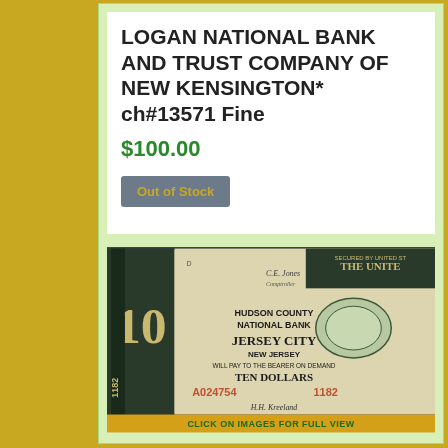LOGAN NATIONAL BANK AND TRUST COMPANY OF NEW KENSINGTON* ch#13571 Fine
$100.00
Out of Stock
[Figure (photo): Photo of a $10 National Bank Note from Hudson County National Bank, Jersey City, New Jersey. Serial number A024754 1182. Shows ornate engraving with the numeral 10, bank name, 'WILL PAY TO THE BEARER ON DEMAND TEN DOLLARS', and a signature.]
CLICK ON IMAGES FOR FULL VIEW